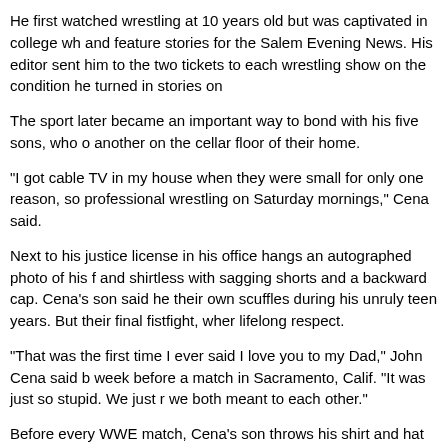He first watched wrestling at 10 years old but was captivated in college wh... and feature stories for the Salem Evening News. His editor sent him to the... two tickets to each wrestling show on the condition he turned in stories on...
The sport later became an important way to bond with his five sons, who o... another on the cellar floor of their home.
"I got cable TV in my house when they were small for only one reason, so... professional wrestling on Saturday mornings," Cena said.
Next to his justice license in his office hangs an autographed photo of his f... and shirtless with sagging shorts and a backward cap. Cena's son said he... their own scuffles during his unruly teen years. But their final fistfight, wher... lifelong respect.
"That was the first time I ever said I love you to my Dad," John Cena said b... week before a match in Sacramento, Calif. "It was just so stupid. We just r... we both meant to each other."
Before every WWE match, Cena's son throws his shirt and hat into the cro... set of dog tags he keeps around his neck. They are inscribed with the nam... father, and brothers.
A decade ago, the elder Cena was searching for something to keep him bu... from his wife, when he answered a newspaper advertisement seeking a rin... Salisbury Beach. The show's organizers loved his voice so much that they... as a manager.
"My old man can hold an audience like nobody," his son said. "Throughout... just that, whether it's just talking at a barbecue or a family dinner or a trip t...